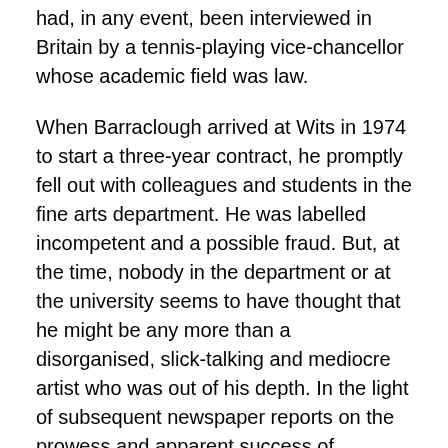had, in any event, been interviewed in Britain by a tennis-playing vice-chancellor whose academic field was law.
When Barraclough arrived at Wits in 1974 to start a three-year contract, he promptly fell out with colleagues and students in the fine arts department. He was labelled incompetent and a possible fraud. But, at the time, nobody in the department or at the university seems to have thought that he might be any more than a disorganised, slick-talking and mediocre artist who was out of his depth. In the light of subsequent newspaper reports on the prowess and apparent success of Barraclough, even some of his critics began to doubt their assessments. They were not aware to what degree the media could be manipulated and that the Barraclough profile was being established under the directions of Johan Coetzee's Section A planners using several of the “friends in the